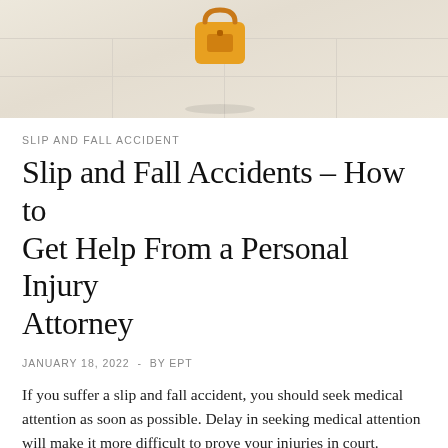[Figure (photo): Photo of a floor with yellow object (bag/item) on tiled surface, viewed from above]
SLIP AND FALL ACCIDENT
Slip and Fall Accidents – How to Get Help From a Personal Injury Attorney
JANUARY 18, 2022  -  BY EPT
If you suffer a slip and fall accident, you should seek medical attention as soon as possible. Delay in seeking medical attention will make it more difficult to prove your injuries in court. Moreover, it is wise to take notes of your symptoms and complaints. Moreover, you should not wait for your injuries to heal by themselves. By getting medical attention as soon as